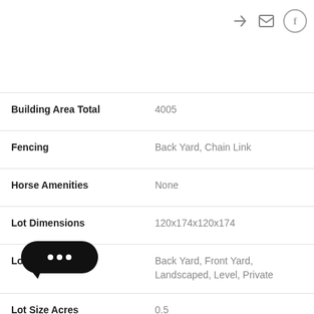| Property | Value |
| --- | --- |
| Building Area Total | 4005 |
| Fencing | Back Yard, Chain Link |
| Horse Amenities | None |
| Lot Dimensions | 120x174x120x174 |
| Lot Features | Back Yard, Front Yard, Landscaped, Level, Private |
| Lot Size Acres | 0.5 |
| source | Public Records |